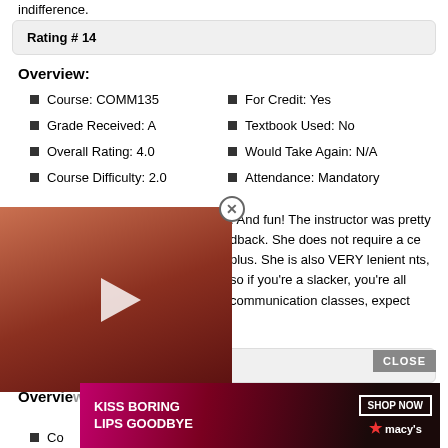indifference.
Rating # 14
Overview:
Course: COMM135
Grade Received: A
Overall Rating: 4.0
Course Difficulty: 2.0
For Credit: Yes
Textbook Used: No
Would Take Again: N/A
Attendance: Mandatory
. And fun! The instructor was pretty dback. She does not require a ce plus. She is also VERY lenient nts, so if you're a slacker, you're  all communication classes, expect a lot of participation.
[Figure (screenshot): Video player overlay showing a Halloween pumpkin image with a play button, partially obscuring the review text]
Rating # 15
Overview:
[Figure (screenshot): Macy's advertisement: KISS BORING LIPS GOODBYE with SHOP NOW button and star Macy's logo]
Co...